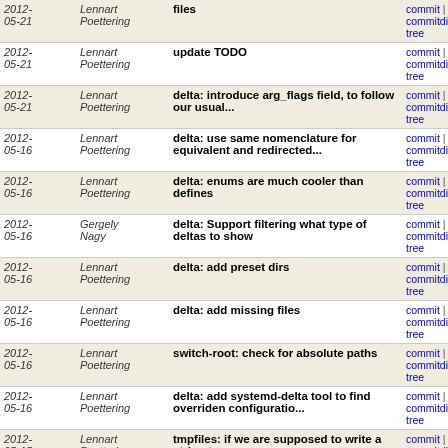| date | author | message | links |
| --- | --- | --- | --- |
| 2012-05-21 | Lennart Poettering | files | commit | commitdiff | tree |
| 2012-05-21 | Lennart Poettering | update TODO | commit | commitdiff | tree |
| 2012-05-21 | Lennart Poettering | delta: introduce arg_flags field, to follow our usual... | commit | commitdiff | tree |
| 2012-05-16 | Lennart Poettering | delta: use same nomenclature for equivalent and redirected... | commit | commitdiff | tree |
| 2012-05-16 | Lennart Poettering | delta: enums are much cooler than defines | commit | commitdiff | tree |
| 2012-05-16 | Gergely Nagy | delta: Support filtering what type of deltas to show | commit | commitdiff | tree |
| 2012-05-16 | Lennart Poettering | delta: add preset dirs | commit | commitdiff | tree |
| 2012-05-16 | Lennart Poettering | delta: add missing files | commit | commitdiff | tree |
| 2012-05-16 | Lennart Poettering | switch-root: check for absolute paths | commit | commitdiff | tree |
| 2012-05-16 | Lennart Poettering | delta: add systemd-delta tool to find overriden configuratio... | commit | commitdiff | tree |
| 2012-05-15 | Lennart Poettering | tmpfiles: if we are supposed to write a string to a... | commit | commitdiff | tree |
| 2012-05-15 | Lennart Poettering | build-sys: fix build | commit | commitdiff | tree |
| 2012-05-15 | Lennart Poettering | build-sys: fix build for folks without gtk-doc installed | commit | commitdiff | tree |
| 2012-05-15 | Lennart Poettering | git: update gitignore | commit | commitdiff | tree |